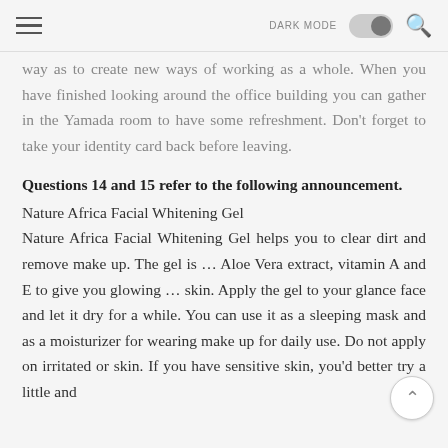DARK MODE [toggle] [search]
way as to create new ways of working as a whole. When you have finished looking around the office building you can gather in the Yamada room to have some refreshment. Don't forget to take your identity card back before leaving.
Questions 14 and 15 refer to the following announcement.
Nature Africa Facial Whitening Gel
Nature Africa Facial Whitening Gel helps you to clear dirt and remove make up. The gel is … Aloe Vera extract, vitamin A and E to give you glowing … skin. Apply the gel to your glance face and let it dry for a while. You can use it as a sleeping mask and as a moisturizer for wearing make up for daily use. Do not apply on irritated or skin. If you have sensitive skin, you'd better try a little and